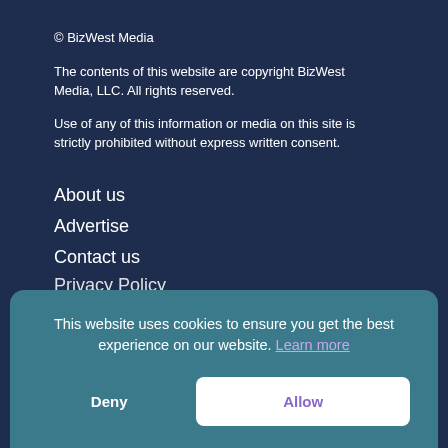© BizWest Media
The contents of this website are copyright BizWest Media, LLC. All rights reserved.
Use of any of this information or media on this site is strictly prohibited without express written consent.
About us
Advertise
Contact us
Privacy Policy
This website uses cookies to ensure you get the best experience on our website. Learn more
Deny
Allow